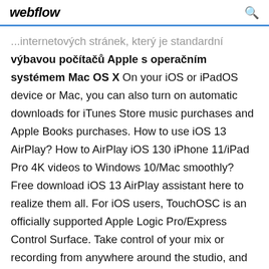webflow
...internetových stránek, který je standardní výbavou počítačů Apple s operačním systémem Mac OS X On your iOS or iPadOS device or Mac, you can also turn on automatic downloads for iTunes Store music purchases and Apple Books purchases. How to use iOS 13 AirPlay? How to AirPlay iOS 130 iPhone 11/iPad Pro 4K videos to Windows 10/Mac smoothly? Free download iOS 13 AirPlay assistant here to realize them all. For iOS users, TouchOSC is an officially supported Apple Logic Pro/Express Control Surface. Take control of your mix or recording from anywhere around the studio, and never stress about your controls not being fully in sync with your... Facebook Video